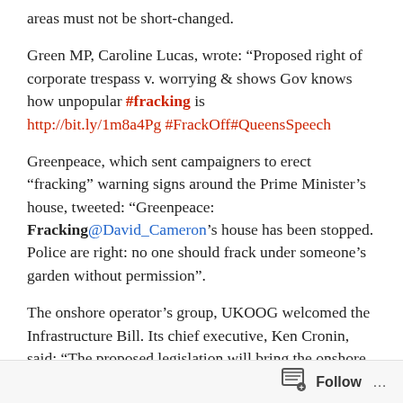areas must not be short-changed.
Green MP, Caroline Lucas, wrote: “Proposed right of corporate trespass v. worrying & shows Gov knows how unpopular #fracking is http://bit.ly/1m8a4Pg #FrackOff#QueensSpeech
Greenpeace, which sent campaigners to erect “fracking” warning signs around the Prime Minister’s house, tweeted: “Greenpeace: Fracking@David_Cameron’s house has been stopped. Police are right: no one should frack under someone’s garden without permission”.
The onshore operator’s group, UKOOG welcomed the Infrastructure Bill. Its chief executive, Ken Cronin, said: “The proposed legislation will bring the onshore oil and gas and geothermal industries into
Follow ...